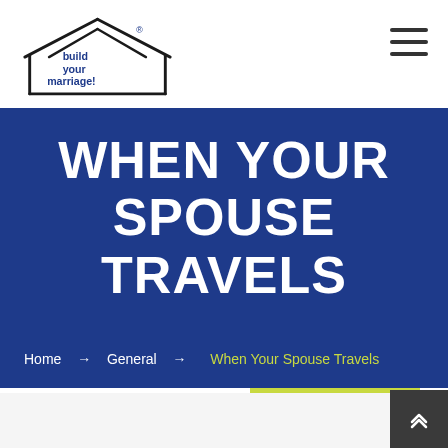[Figure (logo): Build Your Marriage logo — hand-drawn house outline with 'build your marriage!' text in blue, with registered trademark symbol]
WHEN YOUR SPOUSE TRAVELS
Home → General → When Your Spouse Travels